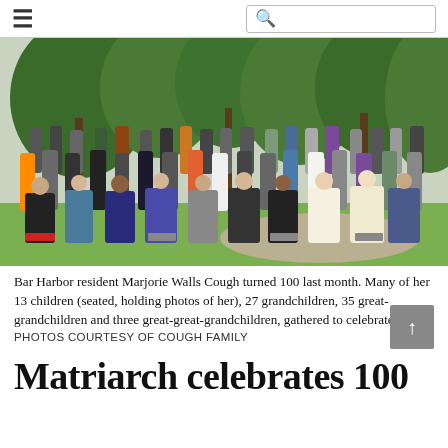≡  🔍
[Figure (photo): Large group photo of the Cough family gathered outdoors in a wooded backyard. Approximately 60+ people of various ages are arranged in rows, with some seated in chairs in front and others standing behind. Trees and greenery are visible in the background.]
Bar Harbor resident Marjorie Walls Cough turned 100 last month. Many of her 13 children (seated, holding photos of her), 27 grandchildren, 35 great-grandchildren and three great-great-grandchildren, gathered to celebrate. PHOTOS COURTESY OF COUGH FAMILY
Matriarch celebrates 100